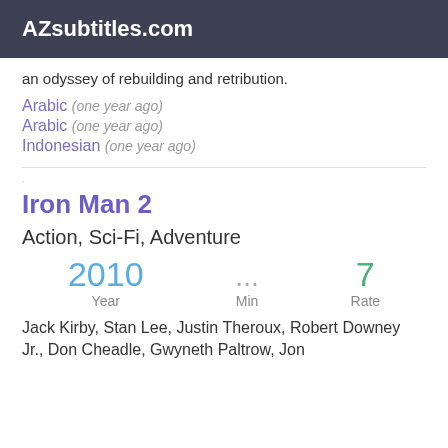AZsubtitles.com
an odyssey of rebuilding and retribution.
Arabic (one year ago)
Arabic (one year ago)
Indonesian (one year ago)
Iron Man 2
Action, Sci-Fi, Adventure
2010  Year    ...  Min    7  Rate
Jack Kirby, Stan Lee, Justin Theroux, Robert Downey Jr., Don Cheadle, Gwyneth Paltrow, Jon